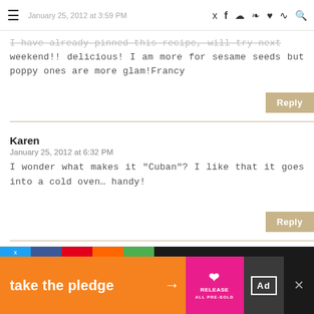January 25, 2012 at 3:59 PM — navigation icons
I have already pinned this recipe, will try next weekend!! delicious! I am more for sesame seeds but poppy ones are more glam!Francy
Reply
Karen
January 25, 2012 at 6:32 PM
I wonder what makes it "Cuban"? I like that it goes into a cold oven… handy!
Reply
Heather @girlichef.com
January 25, 2012 at 7:03 PM
take the pledge →